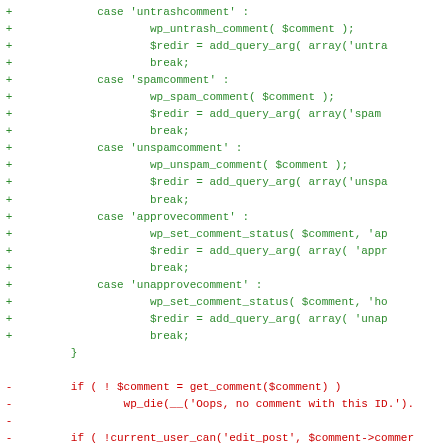Code diff showing PHP comment management switch-case statements (untrashcomment, spamcomment, unspamcomment, approvecomment, unapprovecomment) followed by minus lines with if-statements for comment validation and status setting.